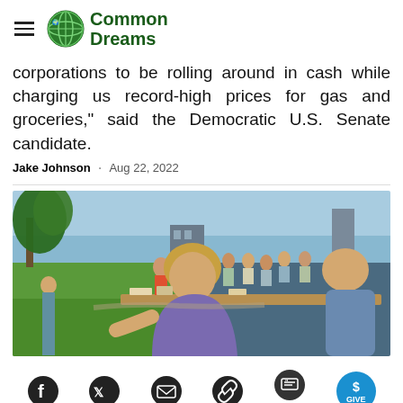Common Dreams
corporations to be rolling around in cash while charging us record-high prices for gas and groceries," said the Democratic U.S. Senate candidate.
Jake Johnson · Aug 22, 2022
[Figure (photo): Outdoor gathering scene with people around a table, woman in purple shirt in foreground, trees and buildings in background]
Social sharing icons: Facebook, Twitter, Email, Link, Comments (11), Give